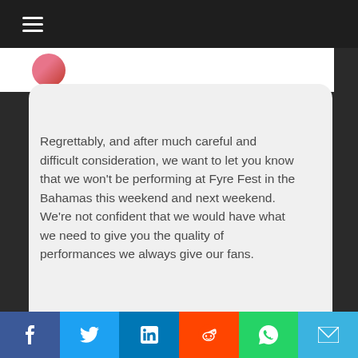[Figure (screenshot): Dark navigation bar with hamburger menu icon at top left]
Regrettably, and after much careful and difficult consideration, we want to let you know that we won't be performing at Fyre Fest in the Bahamas this weekend and next weekend. We're not confident that we would have what we need to give you the quality of performances we always give our fans.
[Figure (infographic): Social share bar with Facebook, Twitter, LinkedIn, Reddit, WhatsApp, and Email buttons]